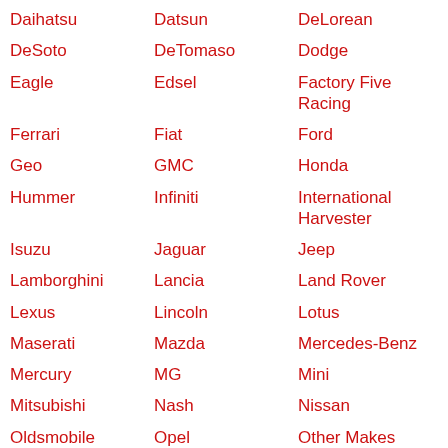Daihatsu
Datsun
DeLorean
DeSoto
DeTomaso
Dodge
Eagle
Edsel
Factory Five Racing
Ferrari
Fiat
Ford
Geo
GMC
Honda
Hummer
Infiniti
International Harvester
Isuzu
Jaguar
Jeep
Lamborghini
Lancia
Land Rover
Lexus
Lincoln
Lotus
Maserati
Mazda
Mercedes-Benz
Mercury
MG
Mini
Mitsubishi
Nash
Nissan
Oldsmobile
Opel
Other Makes
Packard
Peugeot
Plymouth
Pontiac
Porsche
Renault